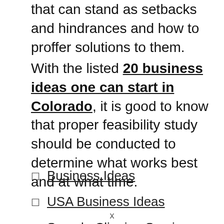that can stand as setbacks and hindrances and how to proffer solutions to them.
With the listed 20 business ideas one can start in Colorado, it is good to know that proper feasibility study should be conducted to determine what works best and at what time.
Business Ideas
USA Business Ideas
Sample Clipping Service Business Plan
x